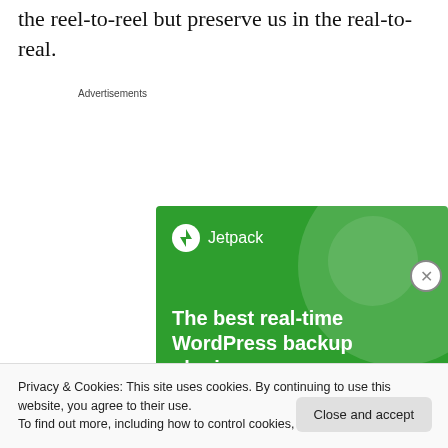the reel-to-reel but preserve us in the real-to-real.
[Figure (screenshot): Jetpack advertisement banner: green background with white bold text reading 'The best real-time WordPress backup plugin', Jetpack logo in top left, and a 'Back up your site' button at the bottom.]
Privacy & Cookies: This site uses cookies. By continuing to use this website, you agree to their use.
To find out more, including how to control cookies, see here: Cookie Policy